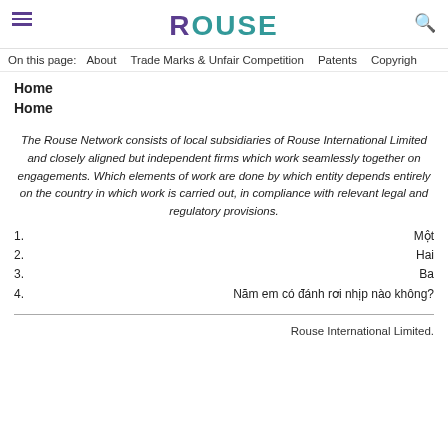ROUSE
On this page:  About  Trade Marks & Unfair Competition  Patents  Copyright
Home
Home
The Rouse Network consists of local subsidiaries of Rouse International Limited and closely aligned but independent firms which work seamlessly together on engagements. Which elements of work are done by which entity depends entirely on the country in which work is carried out, in compliance with relevant legal and regulatory provisions.
1.  Một
2.  Hai
3.  Ba
4.  Năm em có đánh rơi nhịp nào không?
Rouse International Limited.